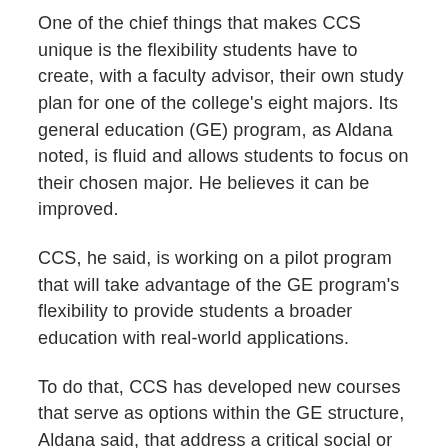One of the chief things that makes CCS unique is the flexibility students have to create, with a faculty advisor, their own study plan for one of the college's eight majors. Its general education (GE) program, as Aldana noted, is fluid and allows students to focus on their chosen major. He believes it can be improved.
CCS, he said, is working on a pilot program that will take advantage of the GE program's flexibility to provide students a broader education with real-world applications.
To do that, CCS has developed new courses that serve as options within the GE structure, Aldana said, that address a critical social or environmental justice issue. The courses will be multidisciplinary — chemistry and art, say, or physics and music.